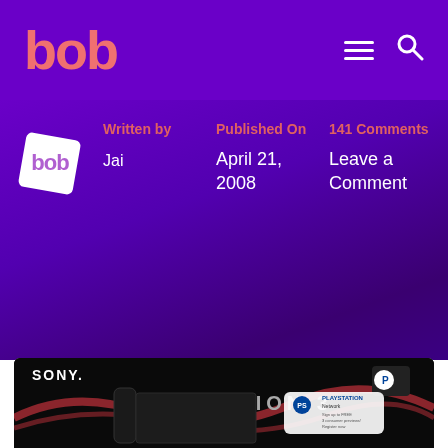bob — navigation bar with logo, hamburger menu, and search icon
Written by
Jai
Published On
April 21, 2008
141 Comments
Leave a Comment
[Figure (photo): Sony PlayStation 3 console box art showing the PS3 console with PLAYSTATION NETWORK logo on a dark background with red wave design]